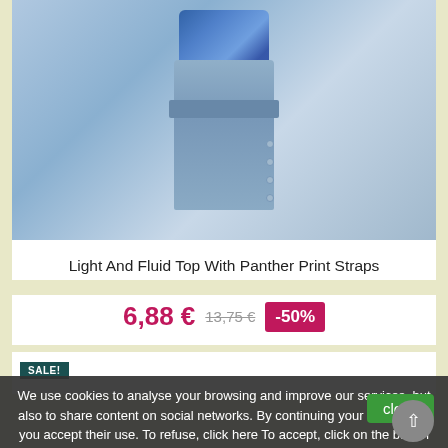[Figure (photo): Woman wearing a light blue denim button-front skirt with a floral top, shown from torso down]
Light And Fluid Top With Panther Print Straps
6,88 € 13,75 € -50%
SALE!
We use cookies to analyse your browsing and improve our services, but also to share content on social networks. By continuing your navigation, you accept their use. To refuse, click here To accept, click on the button opposite.
close